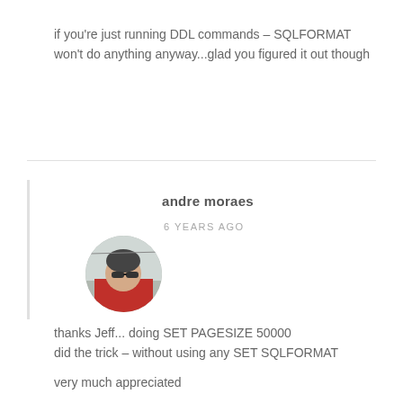if you're just running DDL commands – SQLFORMAT won't do anything anyway...glad you figured it out though
andre moraes
6 YEARS AGO
[Figure (photo): Circular avatar photo of a person wearing a cycling helmet and sunglasses, dressed in a red cycling jacket, outdoors.]
thanks Jeff... doing SET PAGESIZE 50000 did the trick – without using any SET SQLFORMAT
very much appreciated